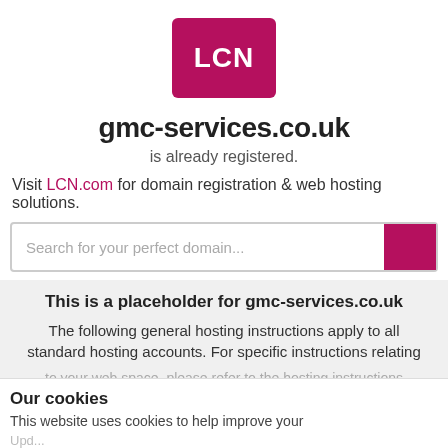[Figure (logo): LCN logo: pink/magenta rounded square with white bold text 'LCN']
gmc-services.co.uk
is already registered.
Visit LCN.com for domain registration & web hosting solutions.
Search for your perfect domain...
This is a placeholder for gmc-services.co.uk
The following general hosting instructions apply to all standard hosting accounts. For specific instructions relating to your web space, please refer to the hosting instructions email received at the time of purchase or log-in to your Control Panel.
Our cookies
This website uses cookies to help improve your